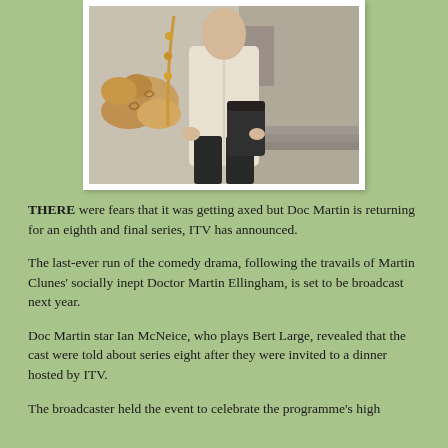[Figure (photo): A man in a light beige/cream coat standing outdoors near stone steps, holding a dark bag. Behind him are bread/pastries. The image has a white border/frame.]
THERE were fears that it was getting axed but Doc Martin is returning for an eighth and final series, ITV has announced.
The last-ever run of the comedy drama, following the travails of Martin Clunes' socially inept Doctor Martin Ellingham, is set to be broadcast next year.
Doc Martin star Ian McNeice, who plays Bert Large, revealed that the cast were told about series eight after they were invited to a dinner hosted by ITV.
The broadcaster held the event to celebrate the programme's high